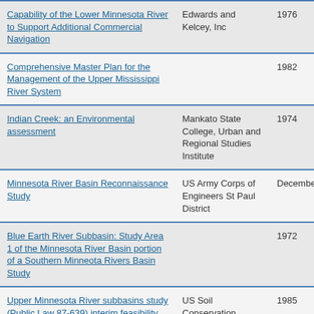| Title | Author/Organization | Year | Publisher (truncated) |
| --- | --- | --- | --- |
| Capability of the Lower Minnesota River to Support Additional Commercial Navigation | Edwards and Kelcey, Inc | 1976 | Up... Ri... Co... |
| Comprehensive Master Plan for the Management of the Upper Mississippi River System |  | 1982 | Up... Ri... Co... |
| Indian Creek: an Environmental assessment | Mankato State College, Urban and Regional Studies Institute | 1974 | Urb... Re... Ins... |
| Minnesota River Basin Reconnaissance Study | US Army Corps of Engineers St Paul District | December 2004 | US... En... |
| Blue Earth River Subbasin: Study Area 1 of the Minnesota River Basin portion of a Southern Minneota Rivers Basin Study |  | 1972 | US... Ag... |
| Upper Minnesota River subbasins study (Public Law 87-639) interim feasibility report: Yellow Banka dn Lac Qui Parle subbasins | US Soil Conservation Service | 1985 | US... Ag... Co... Se... |